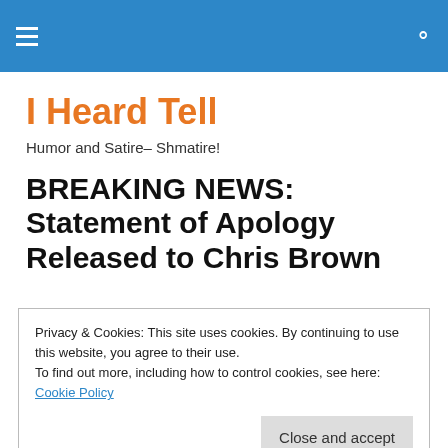I Heard Tell — navigation header with hamburger menu and search icon
I Heard Tell
Humor and Satire– Shmatire!
BREAKING NEWS: Statement of Apology Released to Chris Brown
Privacy & Cookies: This site uses cookies. By continuing to use this website, you agree to their use.
To find out more, including how to control cookies, see here: Cookie Policy